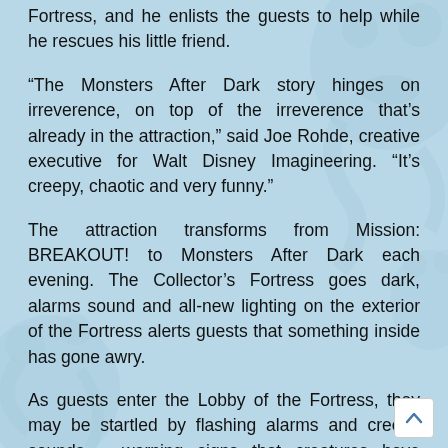Fortress, and he enlists the guests to help while he rescues his little friend.
“The Monsters After Dark story hinges on irreverence, on top of the irreverence that’s already in the attraction,” said Joe Rohde, creative executive for Walt Disney Imagineering. “It’s creepy, chaotic and very funny.”
The attraction transforms from Mission: BREAKOUT! to Monsters After Dark each evening. The Collector’s Fortress goes dark, alarms sound and all-new lighting on the exterior of the Fortress alerts guests that something inside has gone awry.
As guests enter the Lobby of the Fortress, they may be startled by flashing alarms and creepy sounds – warning signs that creatures have escaped their vitrine cages and